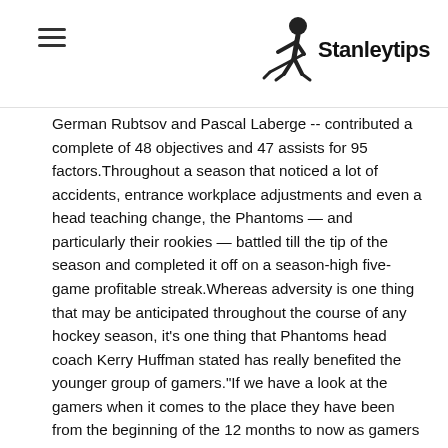Stanleytips
German Rubtsov and Pascal Laberge -- contributed a complete of 48 objectives and 47 assists for 95 factors. Throughout a season that noticed a lot of accidents, entrance workplace adjustments and even a head teaching change, the Phantoms — and particularly their rookies — battled till the tip of the season and completed it off on a season-high five-game profitable streak. Whereas adversity is one thing that may be anticipated throughout the course of any hockey season, it's one thing that Phantoms head coach Kerry Huffman stated has really benefited the younger group of gamers."If we have a look at the gamers when it comes to the place they have been from the beginning of the 12 months to now as gamers and as professionals, I believe they've all taken actually huge strides," Huffman stated. "Simply in the best way they strategy the sport and their apply habits, all of our guys have come a protracted, great distance. We misplaced a few them on account of damage which set a couple of of them again, however even these guys have been